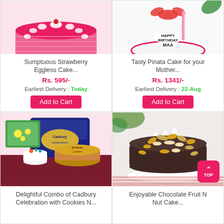[Figure (photo): Sumptuous strawberry pink eggless cake with white cream swirls on top]
Sumptuous Strawberry Eggless Cake...
Rs. 595/-
Earliest Delivery : Today
Add to Cart
[Figure (photo): Tasty Pinata Cake for Mother with Happy Birthday Maa text and red ribbon]
Tasty Pinata Cake for your Mother...
Rs. 1341/-
Earliest Delivery : 22-Aug
Add to Cart
[Figure (photo): Delightful combo of Cadbury Celebration box with cookies on dark red background]
Delightful Combo of Cadbury Celebration with Cookies N...
[Figure (photo): Enjoyable Chocolate Fruit N Nut Cake topped with cashews and nuts]
Enjoyable Chocolate Fruit N Nut Cake...